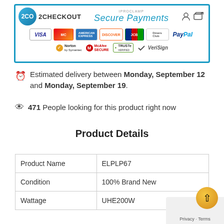[Figure (infographic): 2Checkout secure payments banner with payment card logos (Visa, MasterCard, American Express, Discover, JCB, Diners Club, PayPal) and security badges (Norton, McAfee SECURE, TRUSTe Verified, VeriSign)]
Estimated delivery between Monday, September 12 and Monday, September 19.
471 People looking for this product right now
Product Details
| Product Name | ELPLP67 |
| Condition | 100% Brand New |
| Wattage | UHE200W |